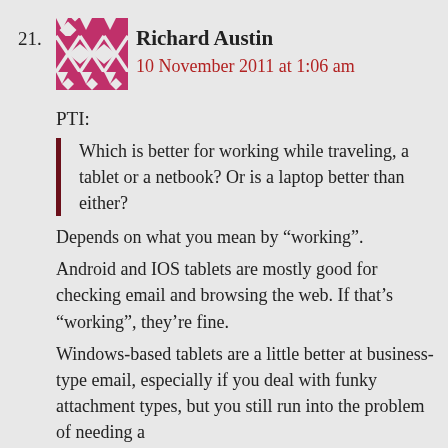21. Richard Austin
10 November 2011 at 1:06 am
PTI:
Which is better for working while traveling, a tablet or a netbook? Or is a laptop better than either?
Depends on what you mean by “working”.
Android and IOS tablets are mostly good for checking email and browsing the web. If that’s “working”, they’re fine.
Windows-based tablets are a little better at business-type email, especially if you deal with funky attachment types, but you still run into the problem of needing a